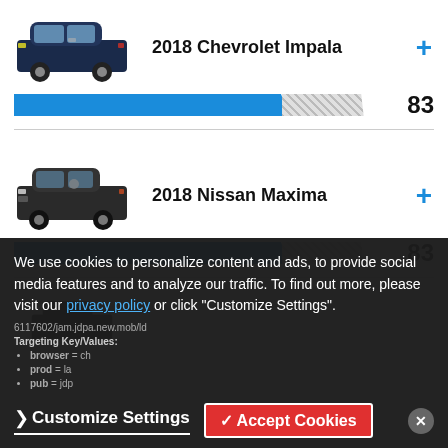[Figure (illustration): 2018 Chevrolet Impala car photo, dark navy blue sedan]
2018 Chevrolet Impala
+
[Figure (bar-chart): Score bar]
[Figure (illustration): 2018 Nissan Maxima car photo, dark gray sedan]
2018 Nissan Maxima
+
[Figure (bar-chart): Score bar]
We use cookies to personalize content and ads, to provide social media features and to analyze our traffic. To find out more, please visit our privacy policy or click "Customize Settings".
Customize Settings
✓ Accept Cookies